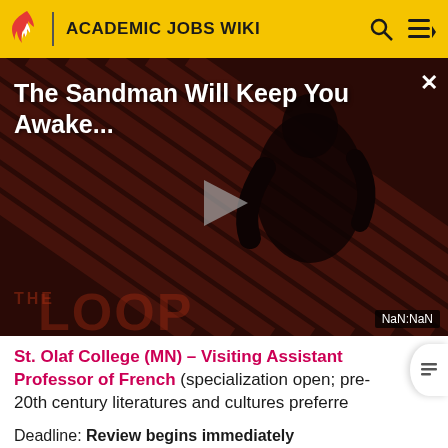ACADEMIC JOBS WIKI
[Figure (screenshot): Video thumbnail for 'The Sandman Will Keep You Awake...' showing a dark figure against diagonal striped red/black background, with THE LOOP text overlay, a play button in the center, and NaN:NaN timestamp in bottom right corner.]
St. Olaf College (MN) – Visiting Assistant Professor of French (specialization open; pre-20th century literatures and cultures preferred
Deadline: Review begins immediately
Request for more materials: